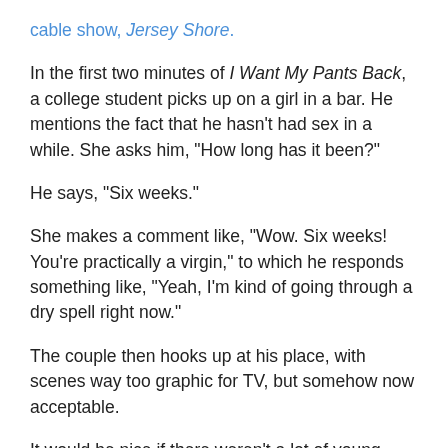cable show, Jersey Shore.
In the first two minutes of I Want My Pants Back, a college student picks up on a girl in a bar. He mentions the fact that he hasn't had sex in a while. She asks him, “How long has it been?”
He says, “Six weeks.”
She makes a comment like, “Wow. Six weeks! You’re practically a virgin,” to which he responds something like, “Yeah, I’m kind of going through a dry spell right now.”
The couple then hooks up at his place, with scenes way too graphic for TV, but somehow now acceptable.
It would be nice if there weren’t a lot of young people exposed to this strong sexual content combined with